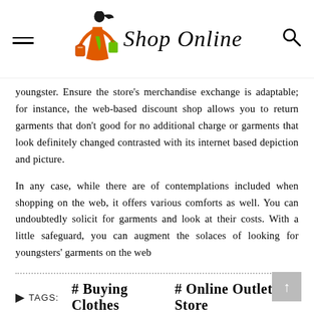Shop Online
youngster. Ensure the store's merchandise exchange is adaptable; for instance, the web-based discount shop allows you to return garments that don't good for no additional charge or garments that look definitely changed contrasted with its internet based depiction and picture.
In any case, while there are of contemplations included when shopping on the web, it offers various comforts as well. You can undoubtedly solicit for garments and look at their costs. With a little safeguard, you can augment the solaces of looking for youngsters' garments on the web
TAGS: # Buying Clothes  # Online Outlet Store